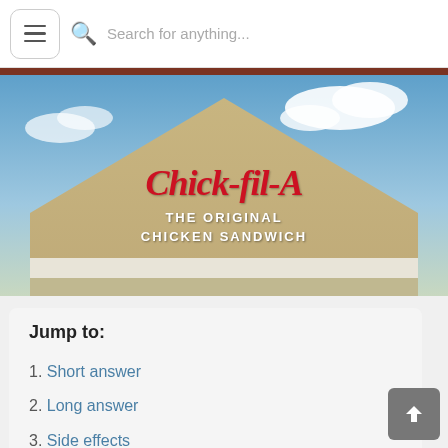Search for anything...
[Figure (photo): Chick-fil-A restaurant exterior sign showing the cursive Chick-fil-A logo in red on a tan stucco building gable, with text reading 'THE ORIGINAL CHICKEN SANDWICH' in white below the logo, blue sky with clouds in background.]
Jump to:
1. Short answer
2. Long answer
3. Side effects